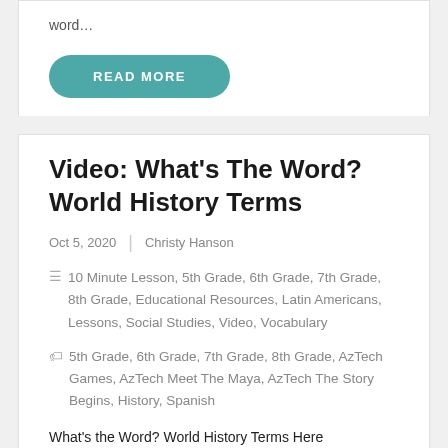word…
READ MORE
Video: What's The Word? World History Terms
Oct 5, 2020  |  Christy Hanson
10 Minute Lesson, 5th Grade, 6th Grade, 7th Grade, 8th Grade, Educational Resources, Latin Americans, Lessons, Social Studies, Video, Vocabulary
5th Grade, 6th Grade, 7th Grade, 8th Grade, AzTech Games, AzTech Meet The Maya, AzTech The Story Begins, History, Spanish
What's the Word? World History Terms Here